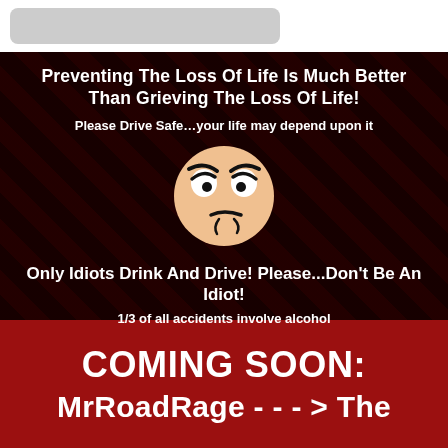[Figure (screenshot): Top browser bar with search box]
Preventing The Loss Of Life Is Much Better Than Grieving The Loss Of Life!
Please Drive Safe…your life may depend upon it
[Figure (illustration): Angry cartoon face emoji on black background]
Only Idiots Drink And Drive! Please...Don't Be An Idiot!
1/3 of all accidents involve alcohol
COMING SOON:
MrRoadRage - - - > The